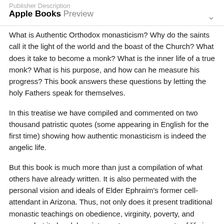Publisher Description
Apple Books Preview
What is Authentic Orthodox monasticism? Why do the saints call it the light of the world and the boast of the Church? What does it take to become a monk? What is the inner life of a true monk? What is his purpose, and how can he measure his progress? This book answers these questions by letting the holy Fathers speak for themselves.
In this treatise we have compiled and commented on two thousand patristic quotes (some appearing in English for the first time) showing how authentic monasticism is indeed the angelic life.
But this book is much more than just a compilation of what others have already written. It is also permeated with the personal vision and ideals of Elder Ephraim's former cell-attendant in Arizona. Thus, not only does it present traditional monastic teachings on obedience, virginity, poverty, and prayer, but it also delves into contemporary aspects of life in general, such as interpersonal relationships, the true role of a leader, good disobedience, the internet, and modernism.
Because this book covers a broad range of topics that apply to everyone, and since "the monastic life is a light for all people,"